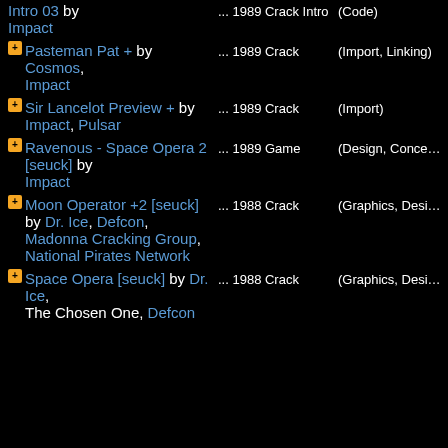Intro 03 by Impact ... 1989 Crack Intro (Code)
Pasteman Pat + by Cosmos, Impact ... 1989 Crack (Import, Linking)
Sir Lancelot Preview + by Impact, Pulsar ... 1989 Crack (Import)
Ravenous - Space Opera 2 [seuck] by Impact ... 1989 Game (Design, Concept)
Moon Operator +2 [seuck] by Dr. Ice, Defcon, Madonna Cracking Group, National Pirates Network ... 1988 Crack (Graphics, Design)
Space Opera [seuck] by Dr. Ice, The Chosen One, Defcon ... 1988 Crack (Graphics, Design)